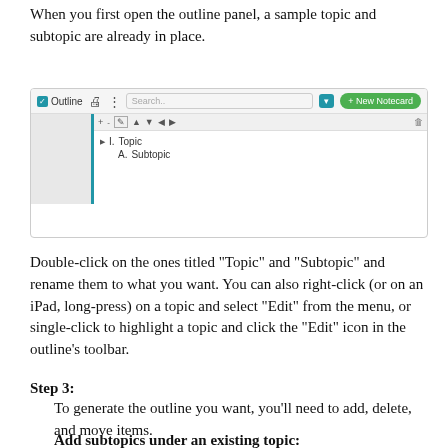When you first open the outline panel, a sample topic and subtopic are already in place.
[Figure (screenshot): Screenshot of the Outline panel showing a toolbar with Outline checkbox, print icon, more options icon, Search bar, filter button, and New Notecard button. Below is the outline tree with 'I. Topic' and 'A. Subtopic' entries.]
Double-click on the ones titled "Topic" and "Subtopic" and rename them to what you want. You can also right-click (or on an iPad, long-press) on a topic and select "Edit" from the menu, or single-click to highlight a topic and click the "Edit" icon in the outline's toolbar.
Step 3:
    To generate the outline you want, you'll need to add, delete, and move items.
Add subtopics under an existing topic:
    Right-click (or long-press on an iPad) on a topic and